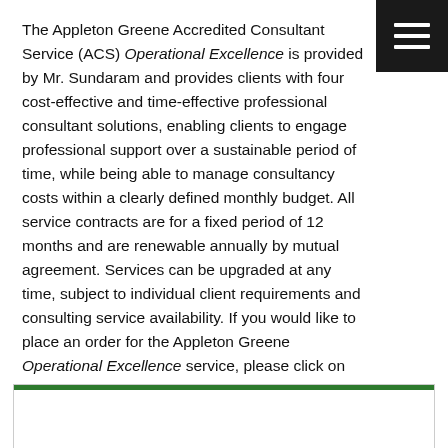The Appleton Greene Accredited Consultant Service (ACS) Operational Excellence is provided by Mr. Sundaram and provides clients with four cost-effective and time-effective professional consultant solutions, enabling clients to engage professional support over a sustainable period of time, while being able to manage consultancy costs within a clearly defined monthly budget. All service contracts are for a fixed period of 12 months and are renewable annually by mutual agreement. Services can be upgraded at any time, subject to individual client requirements and consulting service availability. If you would like to place an order for the Appleton Greene Operational Excellence service, please click on either the Bronze, Silver, Gold, or Platinum service boxes below in order to access the respective application forms. A detailed information guide for this service is provided below and you can access this guide by scrolling down and clicking on the tabs beneath the service order application forms.